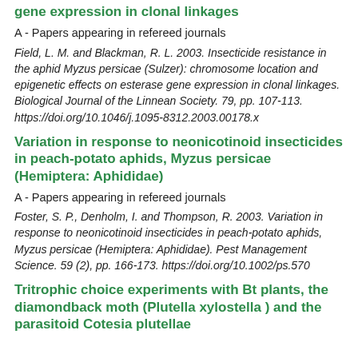gene expression in clonal linkages
A - Papers appearing in refereed journals
Field, L. M. and Blackman, R. L. 2003. Insecticide resistance in the aphid Myzus persicae (Sulzer): chromosome location and epigenetic effects on esterase gene expression in clonal linkages. Biological Journal of the Linnean Society. 79, pp. 107-113. https://doi.org/10.1046/j.1095-8312.2003.00178.x
Variation in response to neonicotinoid insecticides in peach-potato aphids, Myzus persicae (Hemiptera: Aphididae)
A - Papers appearing in refereed journals
Foster, S. P., Denholm, I. and Thompson, R. 2003. Variation in response to neonicotinoid insecticides in peach-potato aphids, Myzus persicae (Hemiptera: Aphididae). Pest Management Science. 59 (2), pp. 166-173. https://doi.org/10.1002/ps.570
Tritrophic choice experiments with Bt plants, the diamondback moth (Plutella xylostella ) and the parasitoid Cotesia plutellae